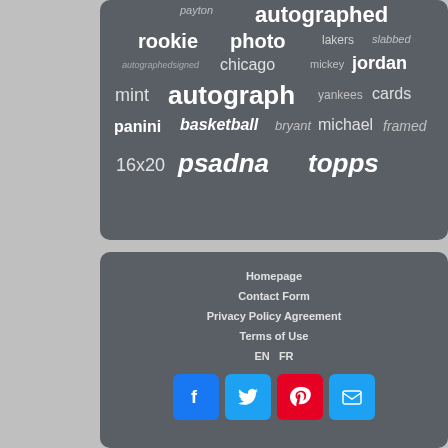[Figure (infographic): Tag cloud on dark gray background with sports card collector keywords: payton, autographed, rookie, photo, lakers, slabbed, autographedsigned, chicago, mickey, jordan, mint, autograph, yankees, cards, panini, basketball, bryant, michael, framed, 16x20, psadna, topps]
Homepage
Contact Form
Privacy Policy Agreement
Terms of Use
EN   FR
[Figure (infographic): Social media icon buttons: Facebook (blue), Twitter (blue), Pinterest (red), Email (blue)]